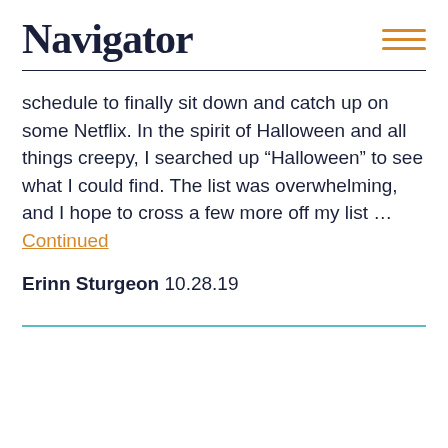Navigator
schedule to finally sit down and catch up on some Netflix. In the spirit of Halloween and all things creepy, I searched up “Halloween” to see what I could find. The list was overwhelming, and I hope to cross a few more off my list … Continued
Erinn Sturgeon 10.28.19